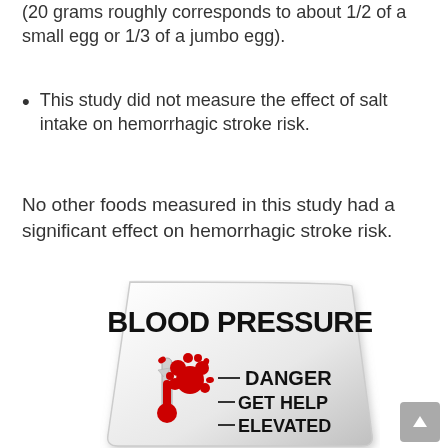(20 grams roughly corresponds to about 1/2 of a small egg or 1/3 of a jumbo egg).
This study did not measure the effect of salt intake on hemorrhagic stroke risk.
No other foods measured in this study had a significant effect on hemorrhagic stroke risk.
[Figure (illustration): An illustration of a blood pressure gauge shaped like a rounded trapezoid with the text BLOOD PRESSURE at top, a broken thermometer with red liquid splashing, and labels reading DANGER, GET HELP, ELEVATED on the right side.]